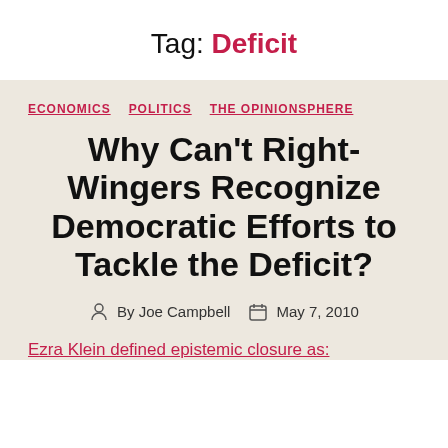Tag: Deficit
ECONOMICS  POLITICS  THE OPINIONSPHERE
Why Can't Right-Wingers Recognize Democratic Efforts to Tackle the Deficit?
By Joe Campbell  May 7, 2010
Ezra Klein defined epistemic closure as: